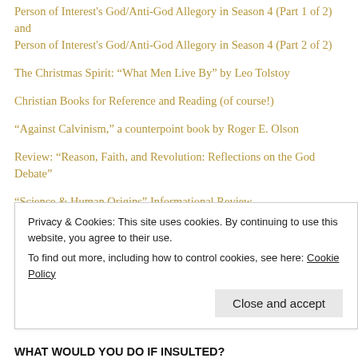Person of Interest's God/Anti-God Allegory in Season 4 (Part 1 of 2) and Person of Interest's God/Anti-God Allegory in Season 4 (Part 2 of 2)
The Christmas Spirit: “What Men Live By” by Leo Tolstoy
Christian Books for Reference and Reading (of course!)
“Against Calvinism,” a counterpoint book by Roger E. Olson
Review: “Reason, Faith, and Revolution: Reflections on the God Debate”
“Science & Human Origins” Informational Review
Review: “God According to God”
“God’s Battalions”: A Corrective to Revisionist Crusades History This
Privacy & Cookies: This site uses cookies. By continuing to use this website, you agree to their use. To find out more, including how to control cookies, see here: Cookie Policy
Close and accept
WHAT WOULD YOU DO IF INSULTED?